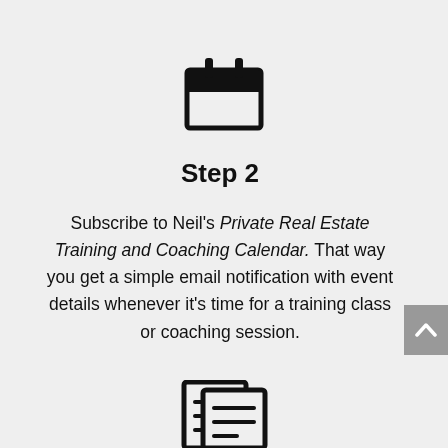[Figure (illustration): Calendar icon — a square calendar with two tabs at top, drawn in black outline style]
Step 2
Subscribe to Neil's Private Real Estate Training and Coaching Calendar. That way you get a simple email notification with event details whenever it's time for a training class or coaching session.
[Figure (illustration): Partial view of a document/list icon at the bottom of the page]